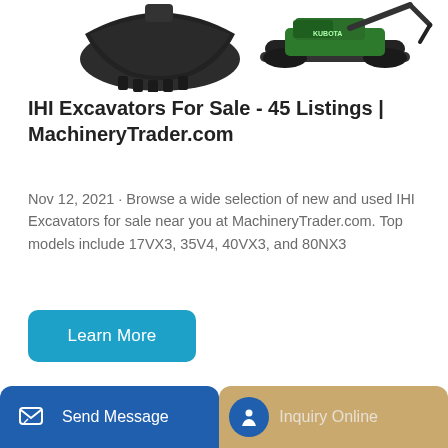[Figure (photo): Excavator bucket attachment and small tracked excavator machine images at top of page]
IHI Excavators For Sale - 45 Listings | MachineryTrader.com
Nov 12, 2021 · Browse a wide selection of new and used IHI Excavators for sale near you at MachineryTrader.com. Top models include 17VX3, 35V4, 40VX3, and 80NX3
[Figure (other): Learn More button (teal/blue rounded rectangle)]
[Figure (photo): CAT yellow excavator machine partially visible at bottom of page]
Send Message | Inquiry Online